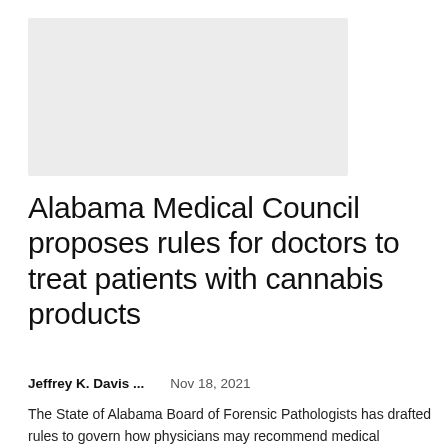[Figure (photo): Gray placeholder image box in the upper left area of the page]
Alabama Medical Council proposes rules for doctors to treat patients with cannabis products
Jeffrey K. Davis ...   Nov 18, 2021
The State of Alabama Board of Forensic Pathologists has drafted rules to govern how physicians may recommend medical marijuana products to patients for chronic pain, depression, seizures, panic disorder and other conditions. The board...